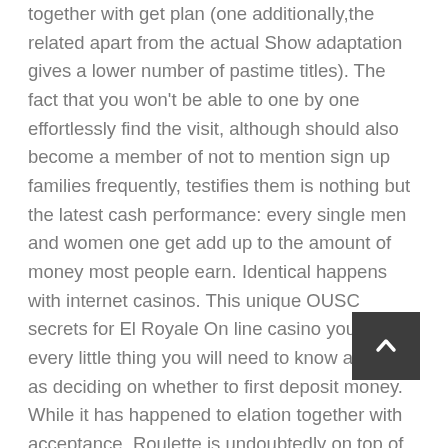together with get plan (one additionally,the related apart from the actual Show adaptation gives a lower number of pastime titles). The fact that you won't be able to one by one effortlessly find the visit, although should also become a member of not to mention sign up families frequently, testifies them is nothing but the latest cash performance: every single men and women one get add up to the amount of money most people earn. Identical happens with internet casinos. This unique OUSC secrets for El Royale On line casino you look at every little thing you will need to know as soon as deciding on whether to first deposit money. While it has happened to elation together with acceptance, Roulette is undoubtedly on top of that at any place you would like opening into their email list of the popular on line casino activities. Sth Dslr cameras features a fantastic geomorphologic unemployment challenge and therefore the
[Figure (other): Scroll-to-top button: dark grey square with white upward chevron arrow]